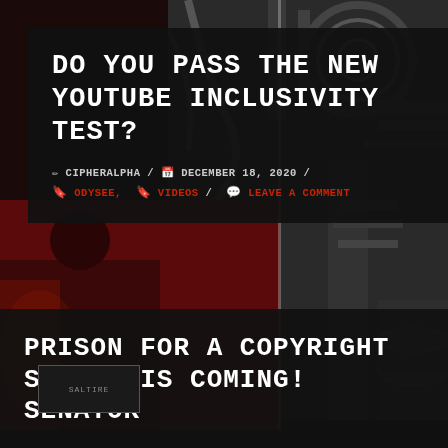DO YOU PASS THE NEW YOUTUBE INCLUSIVITY TEST?
✏ CIPHERALPHA / 📅 DECEMBER 18, 2020 / 🔖 ODYSEE, 🔖 VIDEOS / 💬 LEAVE A COMMENT
[Figure (photo): Dark background with machinery/industrial equipment in grayscale on right, red-tinted scene on bottom left with a small thumbnail card]
PRISON FOR A COPYRIGHT STRIKE IS COMING! SENATOR